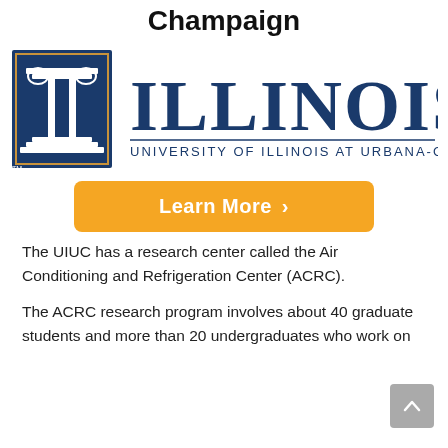Champaign
[Figure (logo): University of Illinois at Urbana-Champaign official logo with column icon and ILLINOIS wordmark]
[Figure (other): Orange 'Learn More >' button]
The UIUC has a research center called the Air Conditioning and Refrigeration Center (ACRC).
The ACRC research program involves about 40 graduate students and more than 20 undergraduates who work on